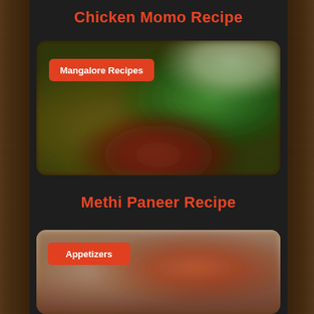Chicken Momo Recipe
[Figure (photo): Blurred food photo showing colorful dishes, with a red badge labeled 'Mangalore Recipes']
Methi Paneer Recipe
[Figure (photo): Blurred food photo showing reddish-brown dish, with a red badge labeled 'Appetizers']